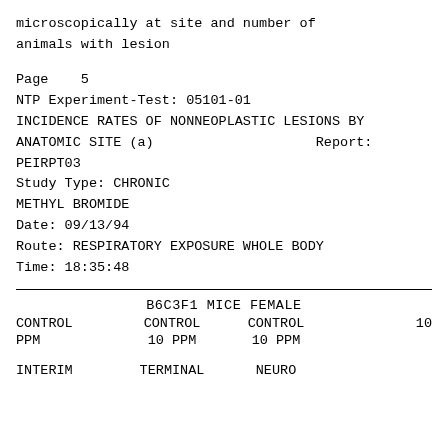microscopically at site and number of
animals with lesion
Page    5
NTP Experiment-Test: 05101-01
INCIDENCE RATES OF NONNEOPLASTIC LESIONS BY
ANATOMIC SITE (a)                    Report:
PEIRPT03
Study Type: CHRONIC
METHYL BROMIDE
Date: 09/13/94
Route: RESPIRATORY EXPOSURE WHOLE BODY
Time: 18:35:48
| B6C3F1 MICE FEMALE |  |  |  |
| --- | --- | --- | --- |
| CONTROL | CONTROL | CONTROL | 10 |
| PPM | 10 PPM | 10 PPM |  |
| INTERIM | TERMINAL | NEURO |  |